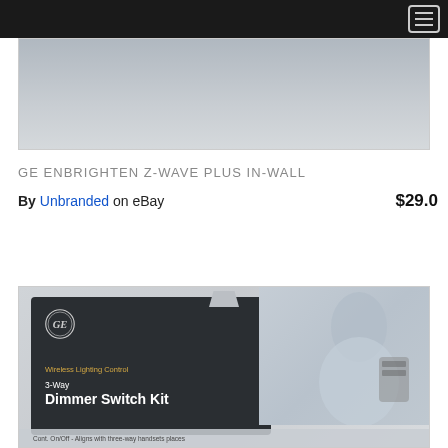[Figure (screenshot): Navigation bar with dark background and hamburger menu icon at top right]
[Figure (photo): Top portion of a product photo showing a gray/silver in-wall switch device on a surface]
GE ENBRIGHTEN Z-WAVE PLUS IN-WALL
By Unbranded on eBay $29.0
[Figure (photo): GE Wireless Lighting Control 3-Way Dimmer Switch Kit product in retail packaging, showing GE logo, product card with dark background, hang tag, and a person in background]